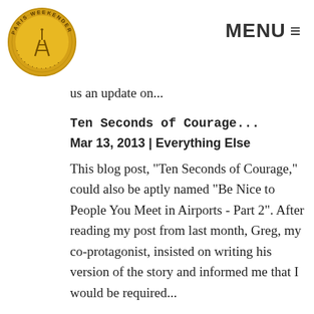MENU ≡
Hunts at the Louvre – and now beyond! She has recently launched THATd'Or (Treasure Hunt at the Musée d'Orsay). In Part 1 of the interview, Daisy shared with us an update on...
Ten Seconds of Courage...
Mar 13, 2013 | Everything Else
This blog post, "Ten Seconds of Courage," could also be aptly named "Be Nice to People You Meet in Airports - Part 2". After reading my post from last month, Greg, my co-protagonist, insisted on writing his version of the story and informed me that I would be required...